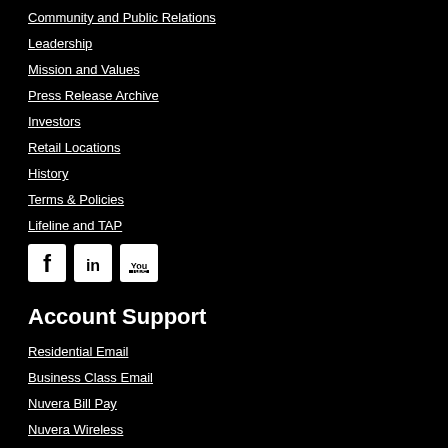Community and Public Relations
Leadership
Mission and Values
Press Release Archive
Investors
Retail Locations
History
Terms & Policies
Lifeline and TAP
[Figure (illustration): Social media icons: Facebook, LinkedIn, YouTube]
Account Support
Residential Email
Business Class Email
Nuvera Bill Pay
Nuvera Wireless
Local Solution